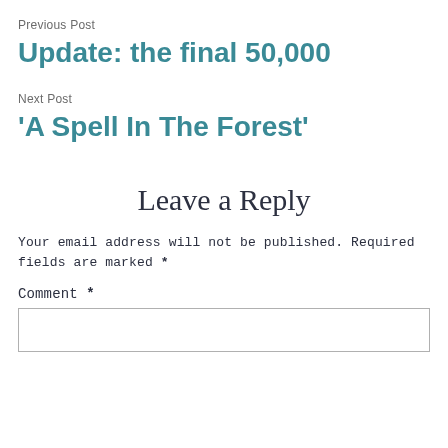Previous Post
Update: the final 50,000
Next Post
‘A Spell In The Forest’
Leave a Reply
Your email address will not be published. Required fields are marked *
Comment *